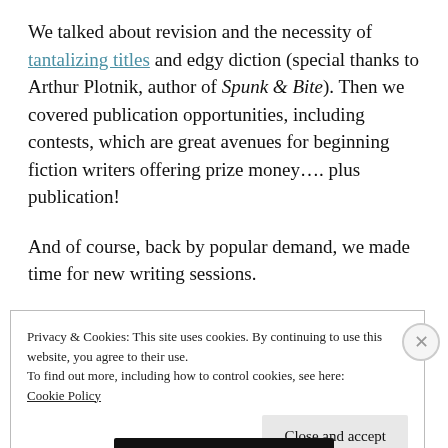We talked about revision and the necessity of tantalizing titles and edgy diction (special thanks to Arthur Plotnik, author of Spunk & Bite). Then we covered publication opportunities, including contests, which are great avenues for beginning fiction writers offering prize money.... plus publication!
And of course, back by popular demand, we made time for new writing sessions.
Drawing from a favorite prompt in The Practice
Privacy & Cookies: This site uses cookies. By continuing to use this website, you agree to their use.
To find out more, including how to control cookies, see here:
Cookie Policy
Close and accept